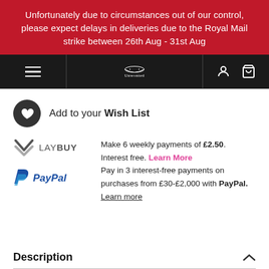Unfortunately due to circumstances out of our control, please expect delays in deliveries due to the Royal Mail strike between 26th Aug - 31st Aug
Unwonted navigation bar with hamburger menu, logo, user icon, cart icon
Add to your Wish List
Make 6 weekly payments of £2.50. Interest free. Learn More
Pay in 3 interest-free payments on purchases from £30-£2,000 with PayPal. Learn more
Description